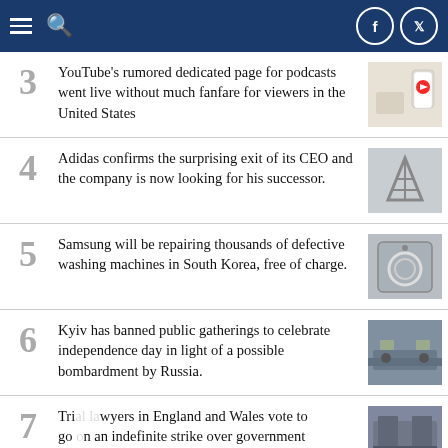Navigation header with hamburger menu, search icon, and social media buttons (Facebook, Twitter)
3 YouTube's rumored dedicated page for podcasts went live without much fanfare for viewers in the United States
4 Adidas confirms the surprising exit of its CEO and the company is now looking for his successor.
5 Samsung will be repairing thousands of defective washing machines in South Korea, free of charge.
6 Kyiv has banned public gatherings to celebrate independence day in light of a possible bombardment by Russia.
7 Trial lawyers in England and Wales vote to go on an indefinite strike over government funding.